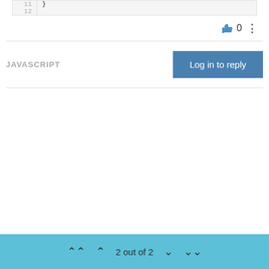[Figure (screenshot): Code block showing line numbers 11 and 12, with a closing brace on line 11]
0
JAVASCRIPT
Log in to reply
2 out of 2